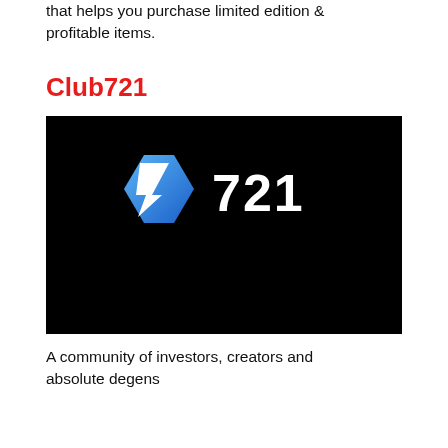that helps you purchase limited edition & profitable items.
Club721
[Figure (logo): Club721 logo: blue hexagon with white stylized '7' chevron and white bold text '721' on black background]
A community of investors, creators and absolute degens